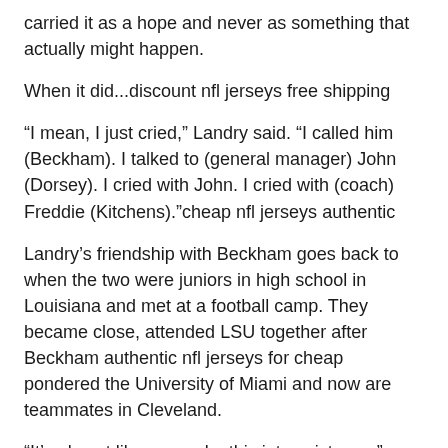carried it as a hope and never as something that actually might happen.
When it did...discount nfl jerseys free shipping
“I mean, I just cried,” Landry said. “I called him (Beckham). I talked to (general manager) John (Dorsey). I cried with John. I cried with (coach) Freddie (Kitchens).”cheap nfl jerseys authentic
Landry’s friendship with Beckham goes back to when the two were juniors in high school in Louisiana and met at a football camp. They became close, attended LSU together after Beckham authentic nfl jerseys for cheap pondered the University of Miami and now are teammates in Cleveland.
“It’s almost like we spoke this into existence,” Beckham said, adding that Landry “made me who I am today.”